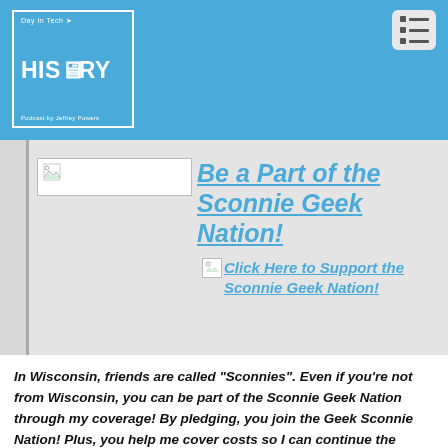[Figure (logo): Day In Tech HISTORY podcast logo — white-bordered box on blue background with 'Day In Tech' text, wifi icon, HISTORY text with monitor icon, and 'Podcast by Jeffrey Powers' at bottom]
Be a Part of the Sconnie Geek Nation!
[Figure (illustration): Broken image placeholder icon followed by link text 'Click Here to Support the Sconnie Geek Nation!']
In Wisconsin, friends are called "Sconnies". Even if you're not from Wisconsin, you can be part of the Sconnie Geek Nation through my coverage! By pledging, you join the Geek Sconnie Nation! Plus, you help me cover costs so I can continue the